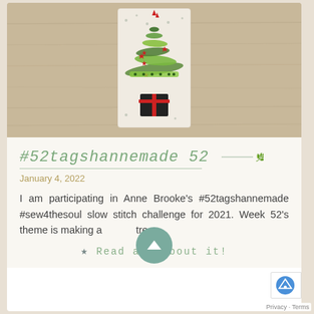[Figure (photo): Photo of a handmade fabric Christmas tree tag/bookmark made with green ribbon, red star embellishments, and a dark base, placed on a light wood surface.]
#52tagshannemade 52
January 4, 2022
I am participating in Anne Brooke's #52tagshannemade #sew4thesoul slow stitch challenge for 2021. Week 52's theme is making a tree.
★ Read all about it!